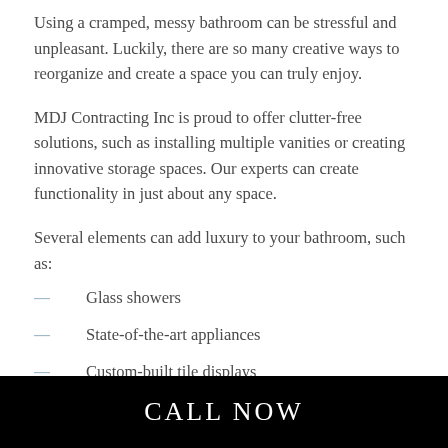Using a cramped, messy bathroom can be stressful and unpleasant. Luckily, there are so many creative ways to reorganize and create a space you can truly enjoy.
MDJ Contracting Inc is proud to offer clutter-free solutions, such as installing multiple vanities or creating innovative storage spaces. Our experts can create functionality in just about any space.
Several elements can add luxury to your bathroom, such as:
Glass showers
State-of-the-art appliances
Custom-built tile displays
CALL NOW